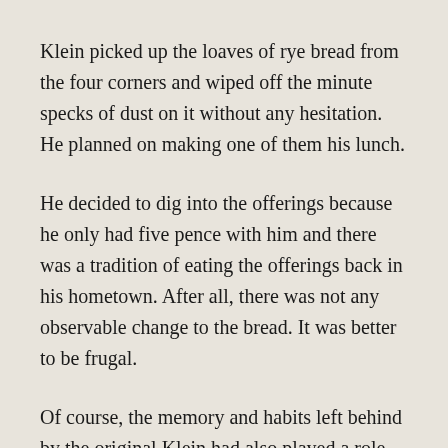Klein picked up the loaves of rye bread from the four corners and wiped off the minute specks of dust on it without any hesitation. He planned on making one of them his lunch.
He decided to dig into the offerings because he only had five pence with him and there was a tradition of eating the offerings back in his hometown. After all, there was not any observable change to the bread. It was better to be frugal.
Of course, the memory and habits left behind by the original Klein had also played a role.
It was a huge waste to use the expensive gas only to light up the room. So, Klein took out a furnace and boiled water